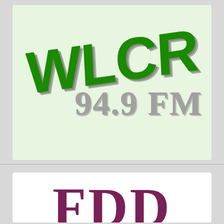[Figure (logo): WLCR 94.9 FM radio station logo. Large bold green letters 'WLCR' angled diagonally on a light green background, with '94.9 FM' in large gray serif text below to the right.]
[Figure (logo): Partial view of another logo showing large dark maroon/purple letters on a white background, partially cropped at the bottom of the page.]